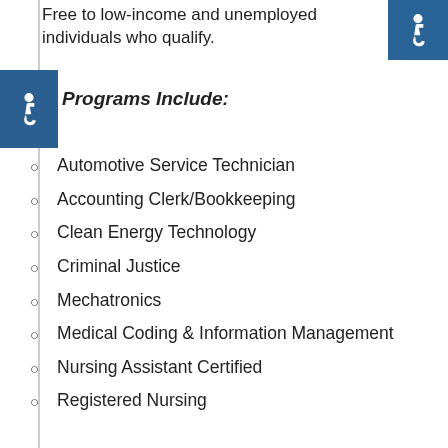Free to low-income and unemployed individuals who qualify.
Programs Include:
Automotive Service Technician
Accounting Clerk/Bookkeeping
Clean Energy Technology
Criminal Justice
Mechatronics
Medical Coding & Information Management
Nursing Assistant Certified
Registered Nursing